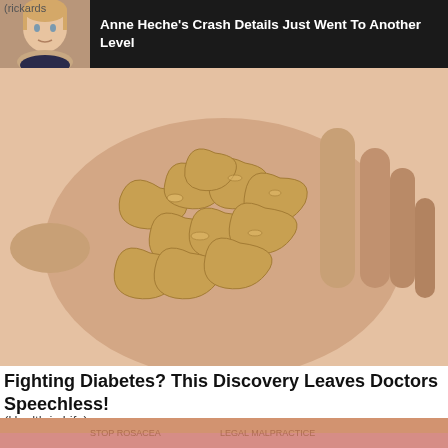[Figure (photo): Advertisement banner: thumbnail photo of Anne Heche (blonde woman) on dark background with bold white headline text]
Anne Heche's Crash Details Just Went To Another Level
[Figure (photo): Close-up photo of a hand holding a pile of cashew nuts]
Fighting Diabetes? This Discovery Leaves Doctors Speechless!
(Health is Life)
[Figure (photo): Partial view of a person's face with blonde hair, bottom of page, cropped]